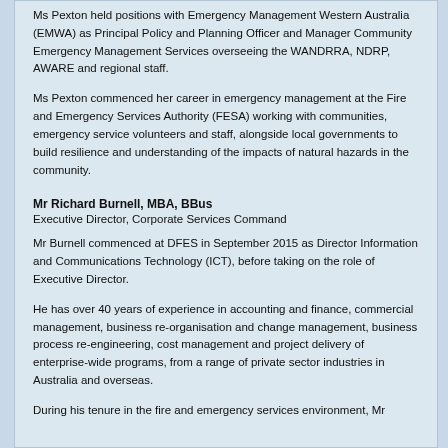Ms Pexton held positions with Emergency Management Western Australia (EMWA) as Principal Policy and Planning Officer and Manager Community Emergency Management Services overseeing the WANDRRA, NDRP, AWARE and regional staff.
Ms Pexton commenced her career in emergency management at the Fire and Emergency Services Authority (FESA) working with communities, emergency service volunteers and staff, alongside local governments to build resilience and understanding of the impacts of natural hazards in the community.
Mr Richard Burnell, MBA, BBus
Executive Director, Corporate Services Command
Mr Burnell commenced at DFES in September 2015 as Director Information and Communications Technology (ICT), before taking on the role of Executive Director.
He has over 40 years of experience in accounting and finance, commercial management, business re-organisation and change management, business process re-engineering, cost management and project delivery of enterprise-wide programs, from a range of private sector industries in Australia and overseas.
During his tenure in the fire and emergency services environment, Mr